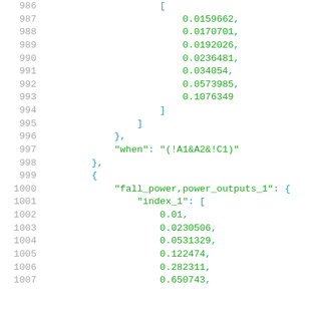Code listing lines 986-1007 showing JSON array data with numeric values and key-value pairs including 'when' condition and 'fall_power,power_outputs_1' object with 'index_1' array